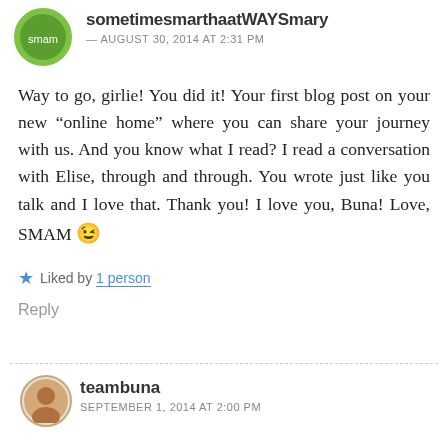[Figure (photo): Avatar image of user sometimesmarthaatWAYSmary, circular with green border]
sometimesmarthaatWAYSmary
— AUGUST 30, 2014 AT 2:31 PM
Way to go, girlie! You did it! Your first blog post on your new “online home” where you can share your journey with us. And you know what I read? I read a conversation with Elise, through and through. You wrote just like you talk and I love that. Thank you! I love you, Buna! Love, SMAM 😉
★ Liked by 1 person
Reply
[Figure (photo): Avatar image of user teambuna, circular]
teambuna
SEPTEMBER 1, 2014 AT 2:00 PM